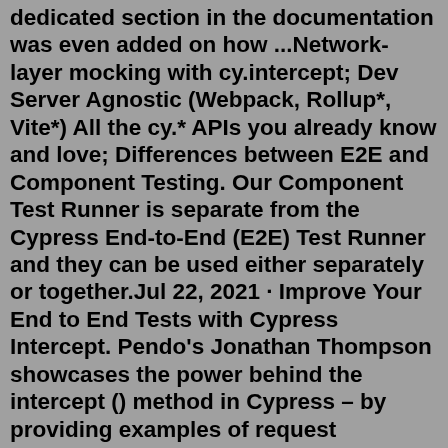dedicated section in the documentation was even added on how ...Network-layer mocking with cy.intercept; Dev Server Agnostic (Webpack, Rollup*, Vite*) All the cy.* APIs you already know and love; Differences between E2E and Component Testing. Our Component Test Runner is separate from the Cypress End-to-End (E2E) Test Runner and they can be used either separately or together.Jul 22, 2021 · Improve Your End to End Tests with Cypress Intercept. Pendo's Jonathan Thompson showcases the power behind the intercept () method in Cypress – by providing examples of request interceptions, mocks, and assertions. Read: Improve Your End to End Tests with Cypress Intercept. Books fetch request highlighted in red. Jul 16, 2021 · Cypress Intercept Intermediate Guide. You might have noticed that the first test we wrote for checking the failure scenario made an actual call. By that I mean it used your internet connection and ... By the time cy.intercept runs, the call is already in progress, and thus not intercepted. Cypress shows XHR calls by default in its